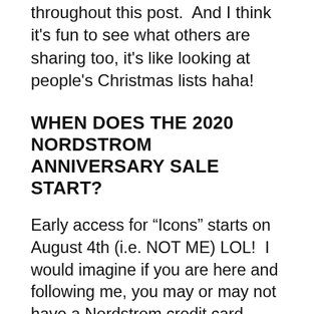throughout this post.  And I think it's fun to see what others are sharing too, it's like looking at people's Christmas lists haha!
WHEN DOES THE 2020 NORDSTROM ANNIVERSARY SALE START?
Early access for “Icons” starts on August 4th (i.e. NOT ME) LOL!  I would imagine if you are here and following me, you may or may not have a Nordstrom credit card.
If you have a Nordstrom credit card you can